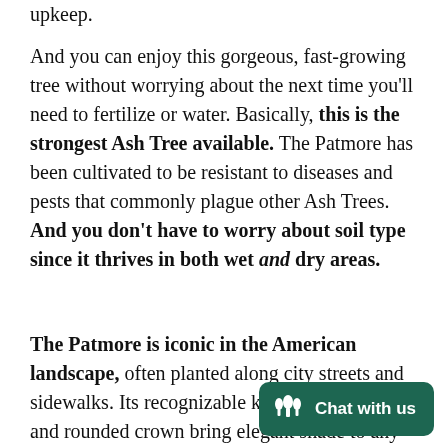upkeep.
And you can enjoy this gorgeous, fast-growing tree without worrying about the next time you'll need to fertilize or water. Basically, this is the strongest Ash Tree available. The Patmore has been cultivated to be resistant to diseases and pests that commonly plague other Ash Trees. And you don't have to worry about soil type since it thrives in both wet and dry areas.
The Patmore is iconic in the American landscape, often planted along city streets and sidewalks. Its recognizable kelly-green leaves and rounded crown bring elegant shade to any area, while its bright yellow foliage in fall delivers month-to-month contrast and beauty.
...